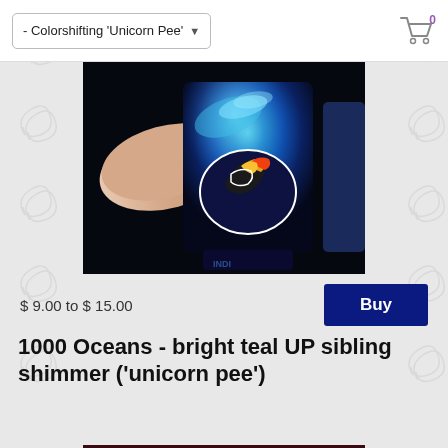- Colorshifting 'Unicorn Pee'
[Figure (photo): Close-up of a dark blue holographic/colorshifting nail polish bottle with an Indigo Bananas eagle logo sticker, held between fingers. The polish shows iridescent blue and teal shimmer.]
$ 9.00 to $ 15.00
Buy
1000 Oceans - bright teal UP sibling shimmer ('unicorn pee')
[Figure (photo): Close-up of a deep red/burgundy nail polish bottle with colorshifting shimmer and an Indigo Bananas eagle logo sticker, held between fingers. The label reads 'INDIGO BANANAS'.]